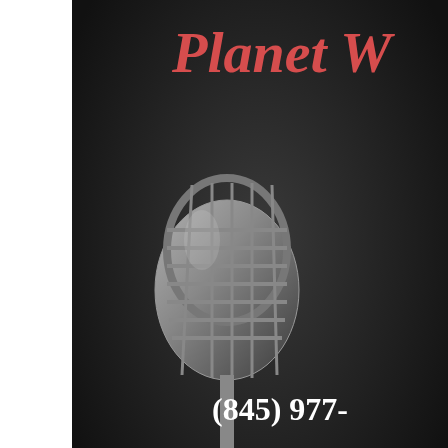[Figure (photo): Radio/podcast banner image with a vintage microphone on dark background. Red cursive text reads 'Planet W...' (partially cropped). Phone number '(845) 977-' visible. Text 'Reader • Listener Co...' at bottom.]
Posted in Oracle on December 30, 2016 | No comm...
← Moonshine Horoscope for Capricorn New Moon
Four Winds... 30, 2016 →